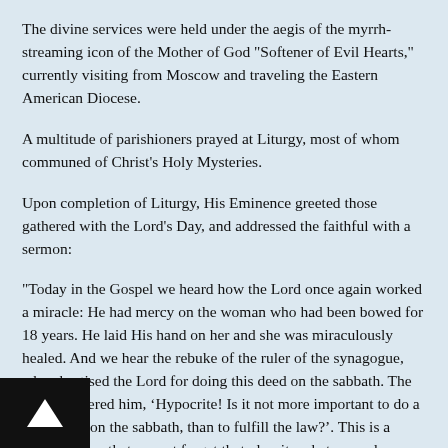The divine services were held under the aegis of the myrrh-streaming icon of the Mother of God "Softener of Evil Hearts," currently visiting from Moscow and traveling the Eastern American Diocese.
A multitude of parishioners prayed at Liturgy, most of whom communed of Christ's Holy Mysteries.
Upon completion of Liturgy, His Eminence greeted those gathered with the Lord's Day, and addressed the faithful with a sermon:
"Today in the Gospel we heard how the Lord once again worked a miracle: He had mercy on the woman who had been bowed for 18 years. He laid His hand on her and she was miraculously healed. And we hear the rebuke of the ruler of the synagogue, who chastised the Lord for doing this deed on the sabbath. The Lord answered him, ‘Hypocrite! Is it not more important to do a good deed on the sabbath, than to fulfill the law?’. This is a lesson for us, that we not forget that, despite whatever rules or canons we may have and which we must observe, we must of course be led in all things by discernment, as the Holy Fathers counsel. This is higher than the law. The Lord gives us an example of love for our neighbor and discernment, showing us good works and love are above the law."